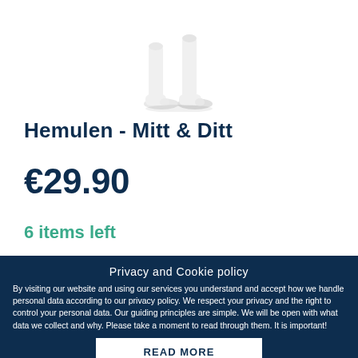[Figure (photo): White rubber boots / protective footwear shown from roughly knee height down, on white background]
Hemulen - Mitt & Ditt
€29.90
6 items left
Privacy and Cookie policy
By visiting our website and using our services you understand and accept how we handle personal data according to our privacy policy. We respect your privacy and the right to control your personal data. Our guiding principles are simple. We will be open with what data we collect and why. Please take a moment to read through them. It is important!
READ MORE